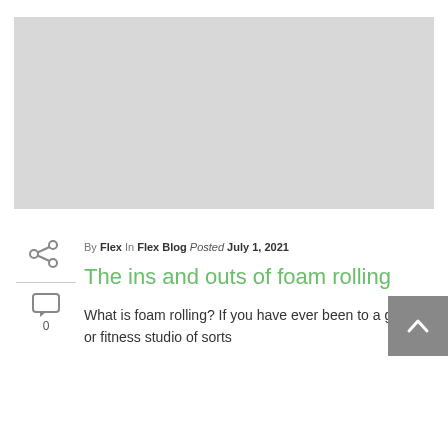[Figure (photo): Large placeholder hero image with light grey background]
[Figure (other): Share icon (connected nodes/share symbol) in sidebar]
[Figure (other): Comment/chat bubble icon with count 0 in sidebar]
By Flex  In Flex Blog  Posted July 1, 2021
The ins and outs of foam rolling
What is foam rolling? If you have ever been to a gym or fitness studio of sorts
[Figure (other): Back to top button (chevron/arrow up in grey square)]